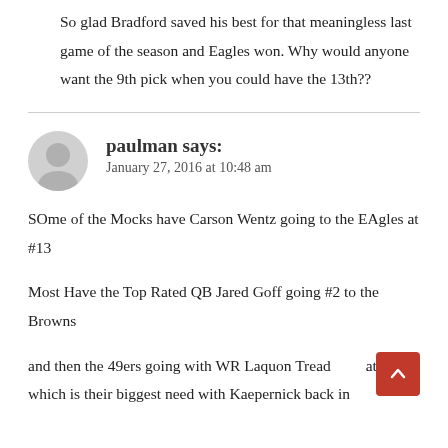So glad Bradford saved his best for that meaningless last game of the season and Eagles won. Why would anyone want the 9th pick when you could have the 13th??
paulman says: January 27, 2016 at 10:48 am
SOme of the Mocks have Carson Wentz going to the EAgles at #13
Most Have the Top Rated QB Jared Goff going #2 to the Browns
and then the 49ers going with WR Laquon Tread... at #7 which is their biggest need with Kaepernick back in